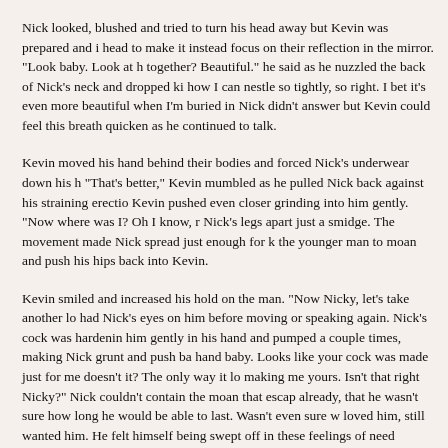Nick looked, blushed and tried to turn his head away but Kevin was prepared and i head to make it instead focus on their reflection in the mirror. "Look baby. Look at h together? Beautiful." he said as he nuzzled the back of Nick's neck and dropped ki how I can nestle so tightly, so right. I bet it's even more beautiful when I'm buried in Nick didn't answer but Kevin could feel this breath quicken as he continued to talk.
Kevin moved his hand behind their bodies and forced Nick's underwear down his h "That's better," Kevin mumbled as he pulled Nick back against his straining erectio Kevin pushed even closer grinding into him gently. "Now where was I? Oh I know, r Nick's legs apart just a smidge. The movement made Nick spread just enough for k the younger man to moan and push his hips back into Kevin.
Kevin smiled and increased his hold on the man. "Now Nicky, let's take another lo had Nick's eyes on him before moving or speaking again. Nick's cock was hardenin him gently in his hand and pumped a couple times, making Nick grunt and push ba hand baby. Looks like your cock was made just for me doesn't it? The only way it lo making me yours. Isn't that right Nicky?" Nick couldn't contain the moan that escap already, that he wasn't sure how long he would be able to last. Wasn't even sure w loved him, still wanted him. He felt himself being swept off in these feelings of need
Kevin continued to stroke the other man whispering gentle words love and desire. I to see how beautiful you look with me inside you, claiming your body and making y see what you look like when I'm fucking you?" Kevin rasped out as he sped up his